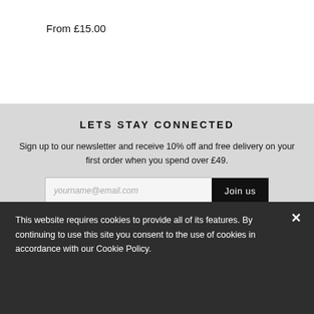From £15.00
LETS STAY CONNECTED
Sign up to our newsletter and receive 10% off and free delivery on your first order when you spend over £49.
yourname@email.com   Join us
CUSTOMER SERVICES
Contact Us
Delivery
This website requires cookies to provide all of its features. By continuing to use this site you consent to the use of cookies in accordance with our Cookie Policy